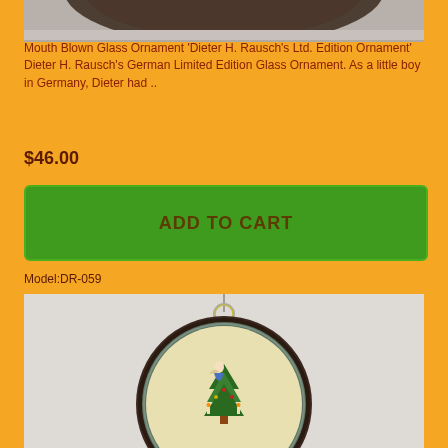[Figure (photo): Top portion of a dark glass Christmas ornament (bottom clipped), shown on a light gray/white background.]
Mouth Blown Glass Ornament 'Dieter H. Rausch's Ltd. Edition Ornament'
Dieter H. Rausch's German Limited Edition Glass Ornament. As a little boy in Germany, Dieter had ..
$46.00
ADD TO CART
Model:DR-059
[Figure (photo): A round glass Christmas ornament with a gold cap and ring hanger. The ornament is dark-rimmed with a cream/yellow background and features a painted scene of an angel and a decorated Christmas tree with candles.]